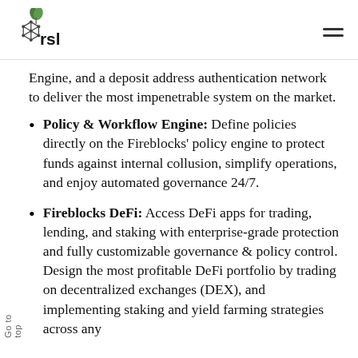rsk
Engine, and a deposit address authentication network to deliver the most impenetrable system on the market.
Policy & Workflow Engine: Define policies directly on the Fireblocks’ policy engine to protect funds against internal collusion, simplify operations, and enjoy automated governance 24/7.
Fireblocks DeFi: Access DeFi apps for trading, lending, and staking with enterprise-grade protection and fully customizable governance & policy control. Design the most profitable DeFi portfolio by trading on decentralized exchanges (DEX), and implementing staking and yield farming strategies across any